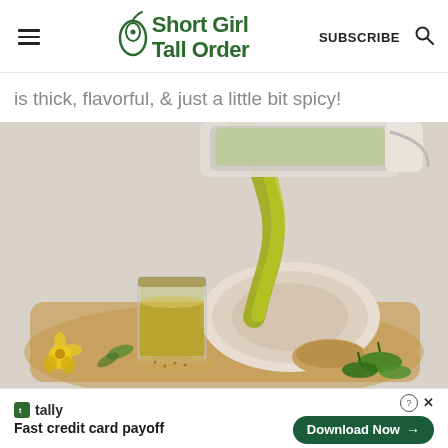Short Girl Tall Order — SUBSCRIBE
is thick, flavorful, & just a little bit spicy!
[Figure (photo): A golden-green blended drink being poured from a blender into a glass on a wooden tray, with jalapenos and a ceramic plate in the background.]
tally — Fast credit card payoff — Download Now →